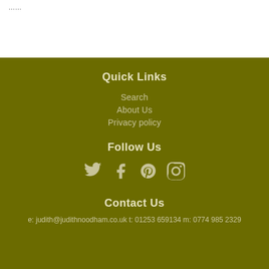……
Quick Links
Search
About Us
Privacy policy
Follow Us
[Figure (illustration): Social media icons: Twitter, Facebook, Pinterest, Instagram]
Contact Us
e: judith@judithnoodham.co.uk t: 01253 659134 m: 0774 985 2329